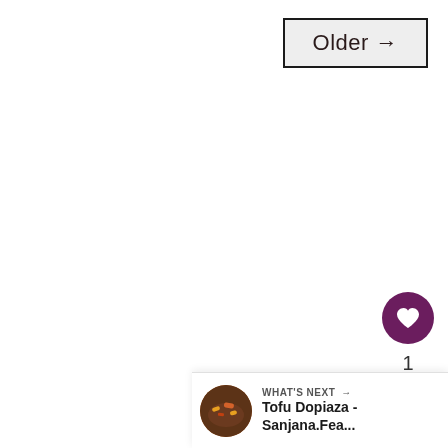Older →
[Figure (other): Heart/like button circle (purple) with heart icon]
1
[Figure (other): Share button circle (light gray) with share icon]
[Figure (other): What's Next panel with food thumbnail and text: WHAT'S NEXT → Tofu Dopiaza - Sanjana.Fea...]